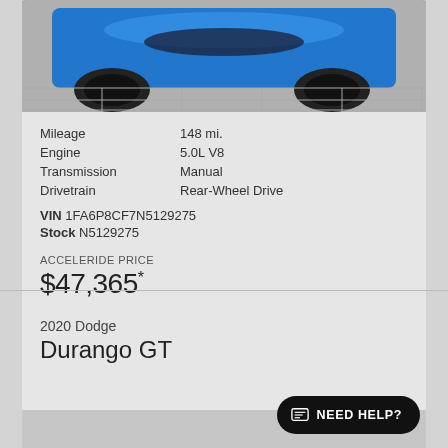[Figure (photo): Front view of a blue sports car (likely Ford Mustang) with black wheels on a gray tiled floor]
Mileage: 148 mi.
Engine: 5.0L V8
Transmission: Manual
Drivetrain: Rear-Wheel Drive
VIN 1FA6P8CF7N5129275
Stock N5129275
ACCELERIDE PRICE
$47,365*
2020 Dodge
Durango GT